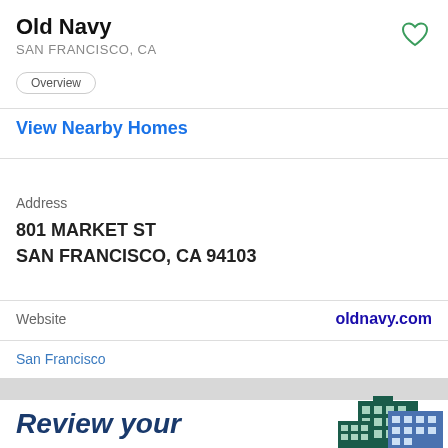Old Navy
SAN FRANCISCO, CA
View Nearby Homes
Address
801 MARKET ST
SAN FRANCISCO, CA 94103
Website
oldnavy.com
San Francisco
Review your
[Figure (illustration): City buildings illustration with blue and dark green colors]